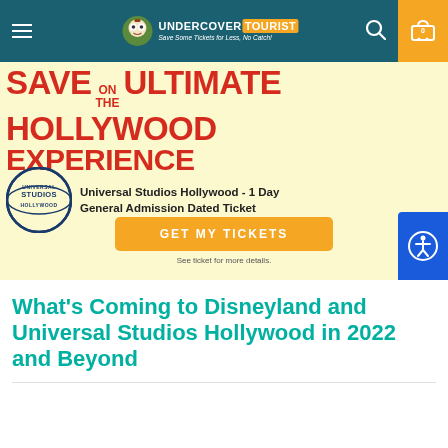Undercover Tourist - Save Some Tickets for Less, No Catch!
[Figure (infographic): Promotional banner for Universal Studios Hollywood 1 Day General Admission Dated Ticket. Red bold text reads SAVE ON THE ULTIMATE HOLLYWOOD EXPERIENCE on a pale yellow background. Universal Studios Hollywood logo on left, product name on right, orange GET MY TICKETS button, and 'See ticket for more details.' text.]
What's Coming to Disneyland and Universal Studios Hollywood in 2022 and Beyond